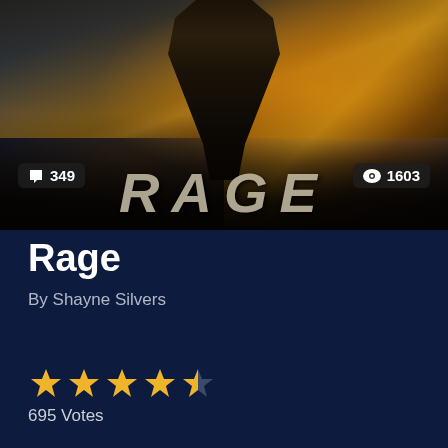[Figure (photo): Book cover for 'Rage' by Shayne Silvers showing a dark armored figure standing in front of a burning city skyline with dramatic golden fire and storm clouds. Badge showing 349 comments and 1603 views overlaid at bottom of cover. Text 'RAGE' partially visible at bottom of cover image.]
Rage
By Shayne Silvers
[Figure (infographic): Star rating showing 4.5 out of 5 stars in gold/yellow color]
695 Votes